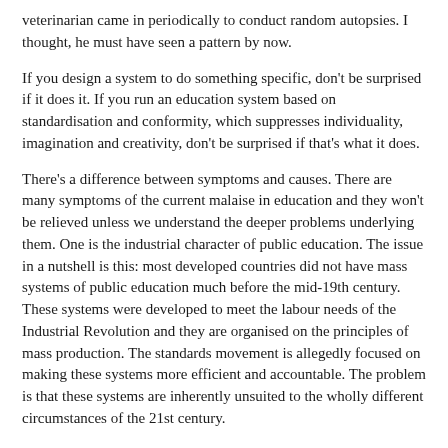veterinarian came in periodically to conduct random autopsies. I thought, he must have seen a pattern by now.
If you design a system to do something specific, don't be surprised if it does it. If you run an education system based on standardisation and conformity, which suppresses individuality, imagination and creativity, don't be surprised if that's what it does.
There's a difference between symptoms and causes. There are many symptoms of the current malaise in education and they won't be relieved unless we understand the deeper problems underlying them. One is the industrial character of public education. The issue in a nutshell is this: most developed countries did not have mass systems of public education much before the mid-19th century. These systems were developed to meet the labour needs of the Industrial Revolution and they are organised on the principles of mass production. The standards movement is allegedly focused on making these systems more efficient and accountable. The problem is that these systems are inherently unsuited to the wholly different circumstances of the 21st century.
Creative Schools: revolutionizing education from the ground up by Ken Robinson and Lou Aronica is published by Allen Lane.
**